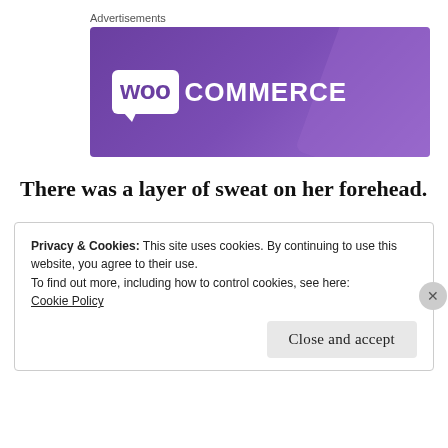[Figure (logo): WooCommerce advertisement banner with purple gradient background and white WooCommerce logo]
There was a layer of sweat on her forehead.
Privacy & Cookies: This site uses cookies. By continuing to use this website, you agree to their use.
To find out more, including how to control cookies, see here:
Cookie Policy
Close and accept